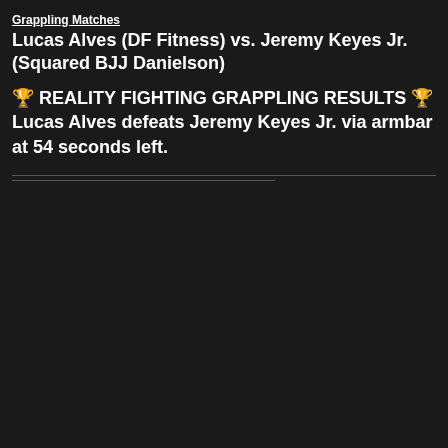Grappling Matches
Lucas Alves (DF Fitness) vs. Jeremy Keyes Jr. (Squared BJJ Danielson)
🏆 REALITY FIGHTING GRAPPLING RESULTS 🏆 Lucas Alves defeats Jeremy Keyes Jr. via armbar at 54 seconds left.